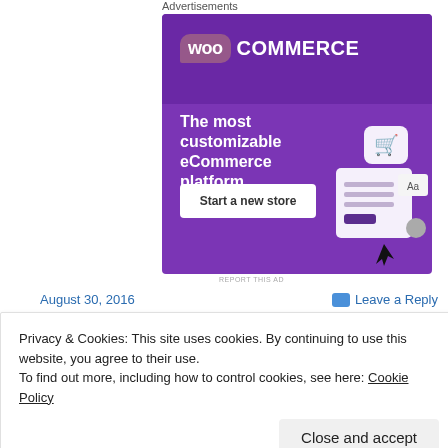Advertisements
[Figure (illustration): WooCommerce advertisement banner with purple background, WooCommerce logo, text 'The most customizable eCommerce platform', 'Start a new store' button, and a UI mockup illustration]
REPORT THIS AD
August 30, 2016
Leave a Reply
Privacy & Cookies: This site uses cookies. By continuing to use this website, you agree to their use.
To find out more, including how to control cookies, see here: Cookie Policy
Close and accept